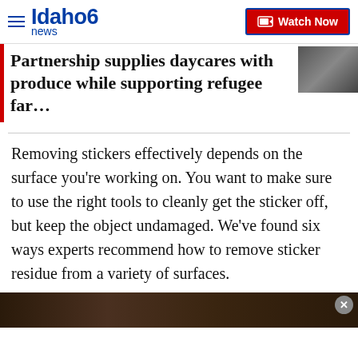Idaho news 6 — Watch Now
Partnership supplies daycares with produce while supporting refugee far…
Removing stickers effectively depends on the surface you're working on. You want to make sure to use the right tools to cleanly get the sticker off, but keep the object undamaged. We've found six ways experts recommend how to remove sticker residue from a variety of surfaces.
[Figure (photo): Bottom image strip partially visible, dark brown texture, with a close button (x) in a grey circle at top-right]